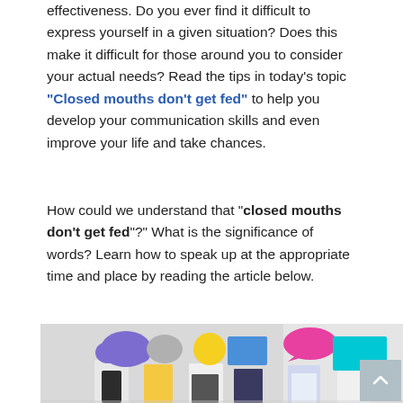effectiveness. Do you ever find it difficult to express yourself in a given situation? Does this make it difficult for those around you to consider your actual needs? Read the tips in today's topic "Closed mouths don't get fed" to help you develop your communication skills and even improve your life and take chances.
How could we understand that "closed mouths don't get fed"?" What is the significance of words? Learn how to speak up at the appropriate time and place by reading the article below.
[Figure (photo): Group of people holding colorful speech bubble and cloud cutouts in front of their faces — purple cloud, gray oval, yellow circle, blue rectangle, pink speech bubble, teal/cyan rectangle — standing against a light gray/white background.]